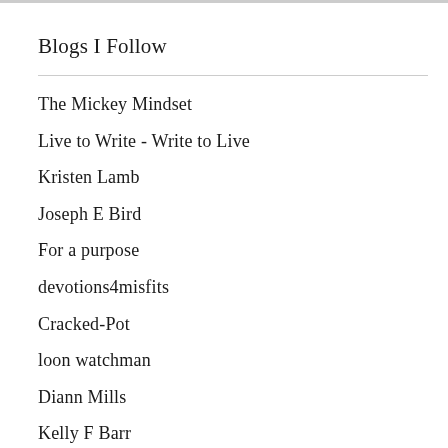Blogs I Follow
The Mickey Mindset
Live to Write - Write to Live
Kristen Lamb
Joseph E Bird
For a purpose
devotions4misfits
Cracked-Pot
loon watchman
Diann Mills
Kelly F Barr